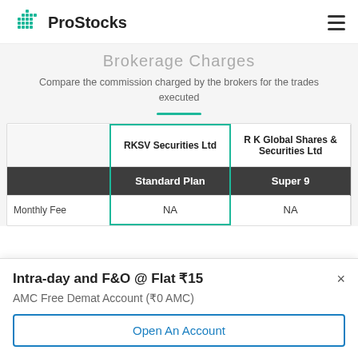ProStocks
Brokerage Charges
Compare the commission charged by the brokers for the trades executed
|  | RKSV Securities Ltd | R K Global Shares & Securities Ltd |
| --- | --- | --- |
|  | Standard Plan | Super 9 |
| Monthly Fee | NA | NA |
Intra-day and F&O @ Flat ₹15
AMC Free Demat Account (₹0 AMC)
Open An Account